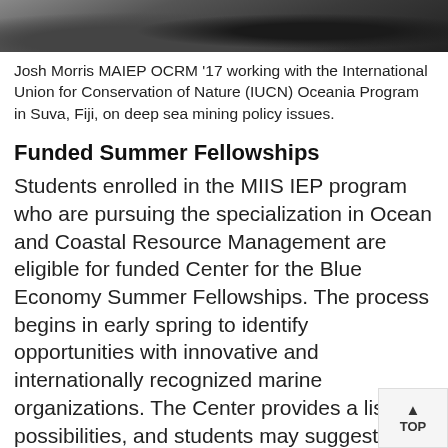[Figure (photo): Partial photo of Josh Morris working outdoors, showing feet/ground area at top of page]
Josh Morris MAIEP OCRM '17 working with the International Union for Conservation of Nature (IUCN) Oceania Program in Suva, Fiji, on deep sea mining policy issues.
Funded Summer Fellowships
Students enrolled in the MIIS IEP program who are pursuing the specialization in Ocean and Coastal Resource Management are eligible for funded Center for the Blue Economy Summer Fellowships. The process begins in early spring to identify opportunities with innovative and internationally recognized marine organizations. The Center provides a list possibilities, and students may suggest additional fellowship opportunities. Each